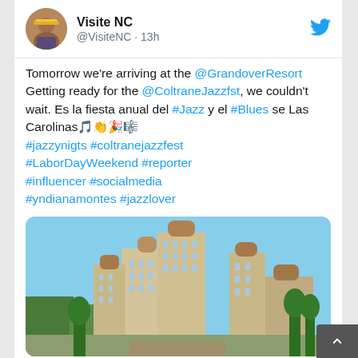Visite NC @VisiteNC · 13h
Tomorrow we're arriving at the @GrandoverResort Getting ready for the @ColtraneJazzfst, we couldn't wait. Es la fiesta anual del #Jazz y el #Blues se Las Carolinas🎵👏🎉🎼 #jazzynigts #coltranejazzfest #LaborDayWeekend #reporter #influencer #socialmedia #yndianamontes #jazzlover
[Figure (photo): Photo of the Grandover Resort hotel building, a large multi-story beige hotel with towers, surrounded by trees under a blue sky.]
Coltrane Jazz Fest and 3 others